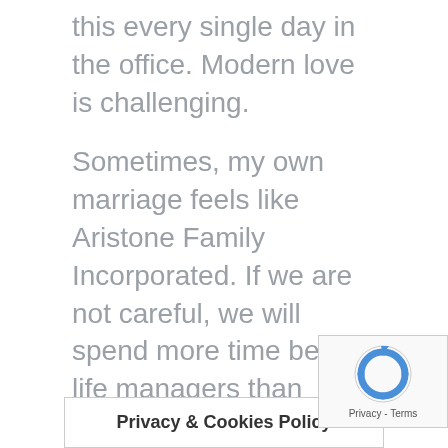this every single day in the office. Modern love is challenging.
Sometimes, my own marriage feels like Aristone Family Incorporated. If we are not careful, we will spend more time being life managers than loving, thoughtful, connected partners.
Knowing the holiday season is upon us, let's nip this in the bud before the eye of the holiday storm arrives. Work as a team, make loving each other your top priority and know that your partner has your back.
Privacy & Cookies Policy